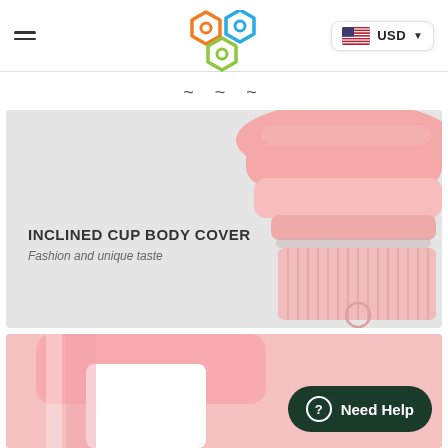Navigation header with hamburger menu, hexagon logo, and USD currency selector
~ ~ ~
[Figure (photo): Pink inclined cup body cover with gray background. Text overlay reads: INCLINED CUP BODY COVER / Fashion and unique taste]
[Figure (photo): Close-up of pink cup bottom section with pink and white color tones]
Need Help